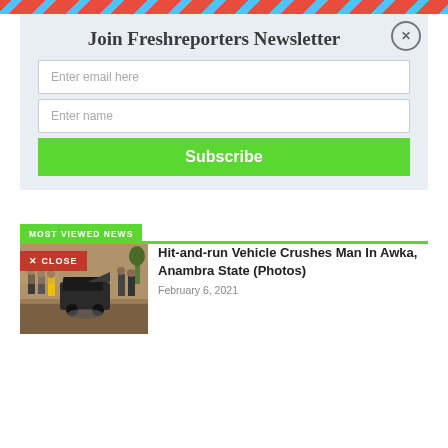Join Freshreporters Newsletter
Enter email here
Enter name
Subscribe
MOST VIEWED NEWS
[Figure (photo): People at an accident scene on a road, with a car and several bystanders]
Hit-and-run Vehicle Crushes Man In Awka, Anambra State (Photos)
February 6, 2021
✕ CLOSE